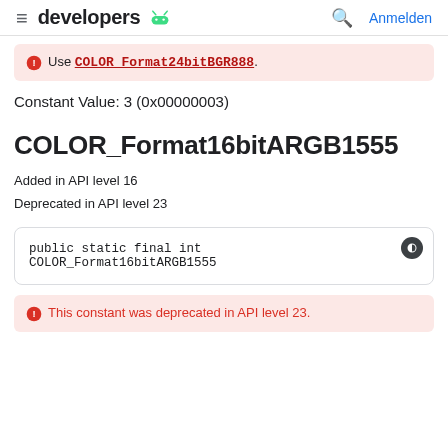developers | Anmelden
Use COLOR_Format24bitBGR888.
Constant Value: 3 (0x00000003)
COLOR_Format16bitARGB1555
Added in API level 16
Deprecated in API level 23
This constant was deprecated in API level 23.